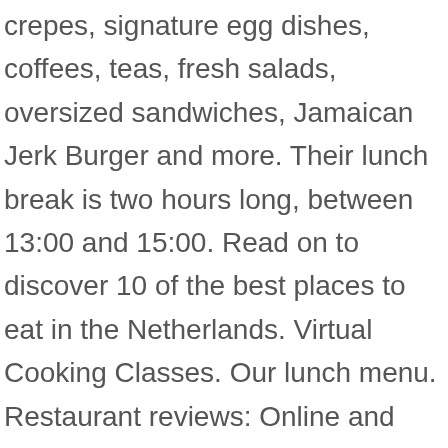crepes, signature egg dishes, coffees, teas, fresh salads, oversized sandwiches, Jamaican Jerk Burger and more. Their lunch break is two hours long, between 13:00 and 15:00. Read on to discover 10 of the best places to eat in the Netherlands. Virtual Cooking Classes. Our lunch menu. Restaurant reviews: Online and newspaper restaurant reviews in the food or lifestyle section are your best asset when trying to find top restaurants in your area. Top 10 traditional Dutch food restaurants in Amsterdam. You can complete the translation of lunch given by the Dutch-English dictionary with other dictionaries such as: Wikipedia, Lexilogos, Larousse dictionary, Le Robert, Oxford, Grévisse. Find useful information, the address and the phone number of the local business you are looking for. Aside from patronizing Dutch-Indo restaurants,